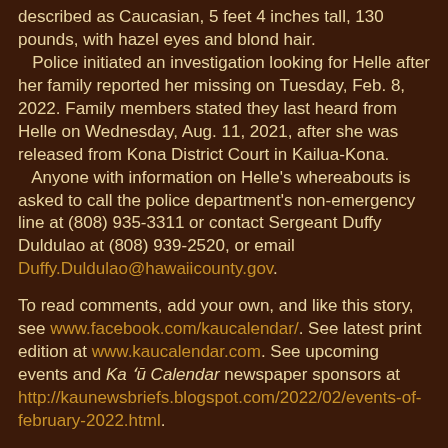described as Caucasian, 5 feet 4 inches tall, 130 pounds, with hazel eyes and blond hair.

Police initiated an investigation looking for Helle after her family reported her missing on Tuesday, Feb. 8, 2022. Family members stated they last heard from Helle on Wednesday, Aug. 11, 2021, after she was released from Kona District Court in Kailua-Kona.

Anyone with information on Helle's whereabouts is asked to call the police department's non-emergency line at (808) 935-3311 or contact Sergeant Duffy Duldulao at (808) 939-2520, or email Duffy.Duldulao@hawaiicounty.gov.
To read comments, add your own, and like this story, see www.facebook.com/kaucalendar/. See latest print edition at www.kaucalendar.com. See upcoming events and Ka 'ū Calendar newspaper sponsors at http://kaunewsbriefs.blogspot.com/2022/02/events-of-february-2022.html.
CONTINUING SEXUAL ASSAULT OF A MINOR is one of three crimes charged against an Ocean View man on Thursday. Prosecuting Attorney Kelden Waltjen announced